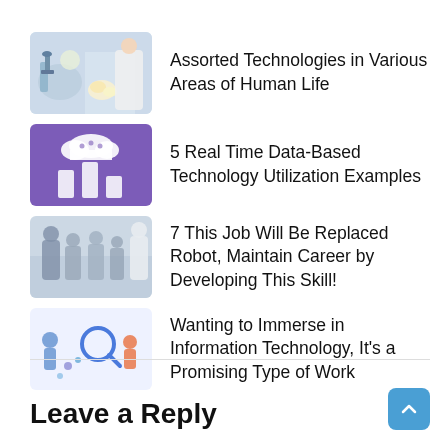Assorted Technologies in Various Areas of Human Life
5 Real Time Data-Based Technology Utilization Examples
7 This Job Will Be Replaced Robot, Maintain Career by Developing This Skill!
Wanting to Immerse in Information Technology, It's a Promising Type of Work
Leave a Reply